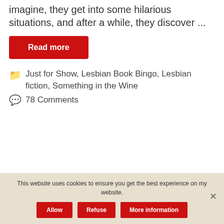imagine, they get into some hilarious situations, and after a while, they discover ...
Read more
Just for Show, Lesbian Book Bingo, Lesbian fiction, Something in the Wine
78 Comments
Subscribe to my blog to get an email any time a new post is published.
This website uses cookies to ensure you get the best experience on my website.
Allow
Refuse
More information